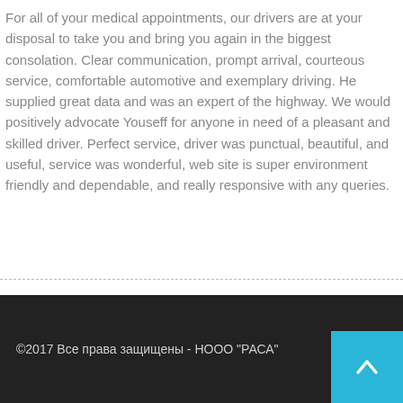For all of your medical appointments, our drivers are at your disposal to take you and bring you again in the biggest consolation. Clear communication, prompt arrival, courteous service, comfortable automotive and exemplary driving. He supplied great data and was an expert of the highway. We would positively advocate Youseff for anyone in need of a pleasant and skilled driver. Perfect service, driver was punctual, beautiful, and useful, service was wonderful, web site is super environment friendly and dependable, and really responsive with any queries.
©2017 Все права защищены - НООО "РАСА"